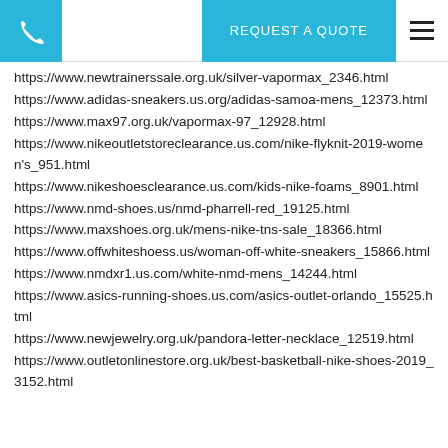REQUEST A QUOTE
https://www.newtrainerssale.org.uk/silver-vapormax_2346.html
https://www.adidas-sneakers.us.org/adidas-samoa-mens_12373.html
https://www.max97.org.uk/vapormax-97_12928.html
https://www.nikeoutletstoreclearance.us.com/nike-flyknit-2019-women's_951.html
https://www.nikeshoesclearance.us.com/kids-nike-foams_8901.html
https://www.nmd-shoes.us/nmd-pharrell-red_19125.html
https://www.maxshoes.org.uk/mens-nike-tns-sale_18366.html
https://www.offwhiteshoess.us/woman-off-white-sneakers_15866.html
https://www.nmdxr1.us.com/white-nmd-mens_14244.html
https://www.asics-running-shoes.us.com/asics-outlet-orlando_15525.html
https://www.newjewelry.org.uk/pandora-letter-necklace_12519.html
https://www.outletonlinestore.org.uk/best-basketball-nike-shoes-2019_3152.html